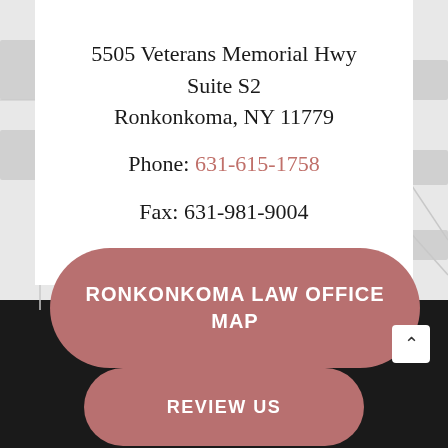5505 Veterans Memorial Hwy
Suite S2
Ronkonkoma, NY 11779
Phone: 631-615-1758
Fax: 631-981-9004
RONKONKOMA LAW OFFICE MAP
REVIEW US